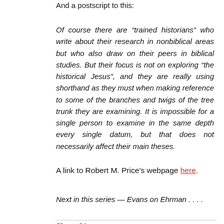And a postscript to this:
Of course there are “trained historians” who write about their research in nonbiblical areas but who also draw on their peers in biblical studies. But their focus is not on exploring “the historical Jesus”, and they are really using shorthand as they must when making reference to some of the branches and twigs of the tree trunk they are examining. It is impossible for a single person to examine in the same depth every single datum, but that does not necessarily affect their main theses.
A link to Robert M. Price’s webpage here.
Next in this series — Evans on Ehrman . . . .
Share this: